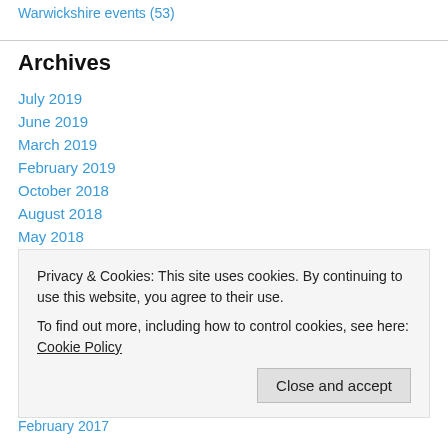Warwickshire events (53)
Archives
July 2019
June 2019
March 2019
February 2019
October 2018
August 2018
May 2018
March 2018
February 2018
Privacy & Cookies: This site uses cookies. By continuing to use this website, you agree to their use. To find out more, including how to control cookies, see here: Cookie Policy
February 2017
August 2017